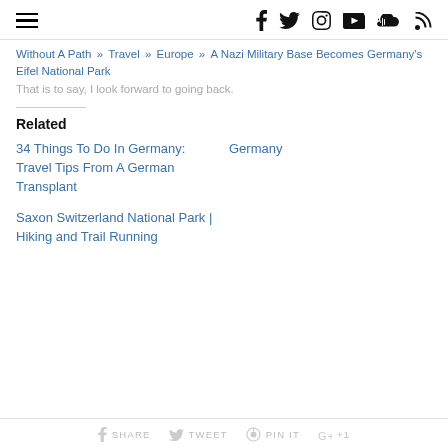Navigation bar with hamburger menu and social icons: Facebook, Twitter, Instagram, YouTube, SoundCloud, RSS
Without A Path » Travel » Europe » A Nazi Military Base Becomes Germany's Eifel National Park
That is to say, I look forward to going back.
Related
34 Things To Do In Germany: Travel Tips From A German Transplant
Germany
Saxon Switzerland National Park | Hiking and Trail Running
SHARE   TWEET   PIN IT   +1